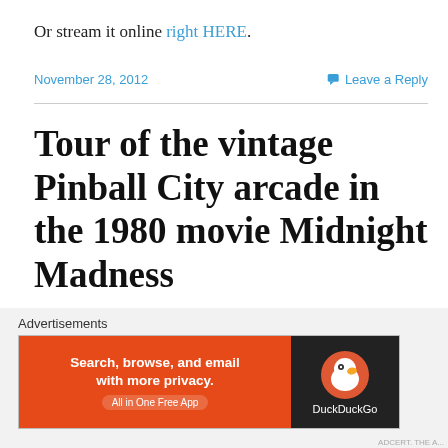Or stream it online right HERE.
November 28, 2012
Leave a Reply
Tour of the vintage Pinball City arcade in the 1980 movie Midnight Madness
[Figure (photo): Cavalcade Arcade neon sign banner with Pac-Man imagery on the left and a game box on the right]
Advertisements
[Figure (screenshot): DuckDuckGo advertisement: Search, browse, and email with more privacy. All in One Free App]